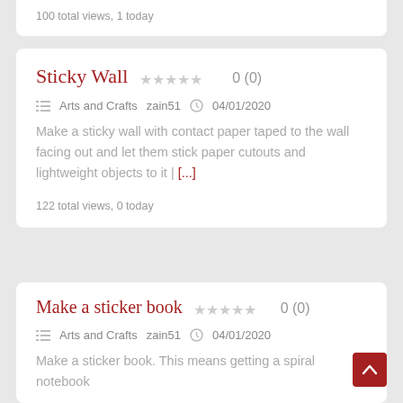100 total views, 1 today
Sticky Wall 0 (0)
Arts and Crafts   zain51   04/01/2020
Make a sticky wall with contact paper taped to the wall facing out and let them stick paper cutouts and lightweight objects to it | [...]
122 total views, 0 today
Make a sticker book 0 (0)
Arts and Crafts   zain51   04/01/2020
Make a sticker book. This means getting a spiral notebook